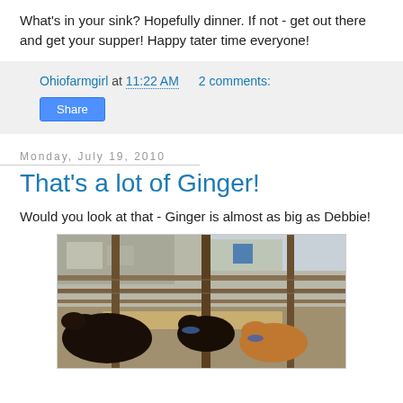What's in your sink? Hopefully dinner. If not - get out there and get your supper! Happy tater time everyone!
Ohiofarmgirl at 11:22 AM   2 comments:
Share
Monday, July 19, 2010
That's a lot of Ginger!
Would you look at that - Ginger is almost as big as Debbie!
[Figure (photo): Photo of cattle/cows in a fenced pen with a farm building in the background. One dark cow and a smaller tan/brown calf are visible in the foreground.]